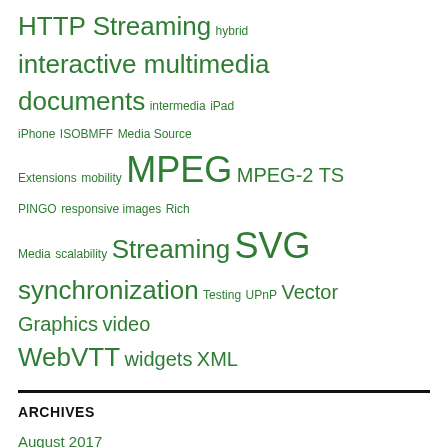[Figure (other): Tag cloud with various terms in different sizes, all in green: HTTP Streaming (large), hybrid (small), interactive multimedia documents (large), intermedia (small), iPad (small), iPhone (small), ISOBMFF (small), Media Source Extensions (small), mobility (small), MPEG (extra large), MPEG-2 TS (medium), PINGO (small), responsive images (small), Rich Media (small), scalability (small), Streaming (large), SVG (extra large), synchronization (large), Testing (small), UPnP (small), Vector Graphics (medium), video (medium), WebVTT (large), widgets (medium), XML (medium)]
ARCHIVES
August 2017
October 2016
March 2016
February 2016
January 2014